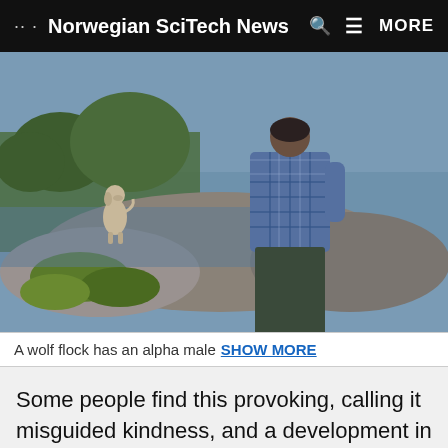Norwegian SciTech News  MORE
[Figure (photo): A person in a plaid blue shirt sitting on rocks near a lake, with a dog (pointer/hunting breed) sitting in the background on the rocks, surrounded by trees and water.]
A wolf flock has an alpha male  SHOW MORE
Some people find this provoking, calling it misguided kindness, and a development in society that they don't want any part of. The believe that only rewards won't make your dog safe— you won't see any results from too much kindness.
"Some people draw parallels to raising children. It is